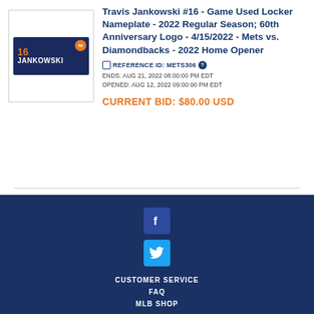[Figure (photo): Nameplate for Travis Jankowski #16, dark blue background with orange number 16 and white text JANKOWSKI, with 60th anniversary logo]
Travis Jankowski #16 - Game Used Locker Nameplate - 2022 Regular Season; 60th Anniversary Logo - 4/15/2022 - Mets vs. Diamondbacks - 2022 Home Opener
REFERENCE ID: METS306
ENDS: AUG 21, 2022 08:00:00 PM EDT
OPENED: AUG 12, 2022 09:00:00 PM EDT
CURRENT BID: $80.00 USD
[Figure (logo): Facebook social media icon, blue square with white f]
[Figure (logo): Twitter social media icon, blue square with white bird]
CUSTOMER SERVICE
FAQ
MLB SHOP